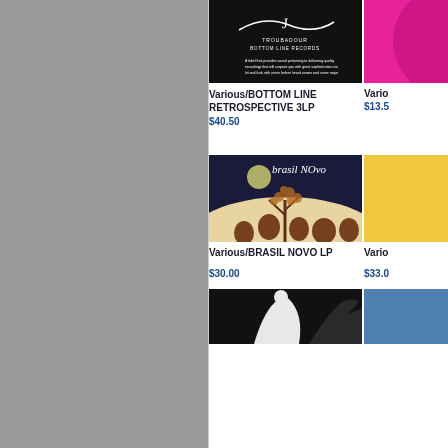[Figure (photo): Gray sidebar on left side of page]
[Figure (photo): Album cover for BOTTOM LINE RETROSPECTIVE 3LP - black background with white cursive text]
Various/BOTTOM LINE RETROSPECTIVE 3LP
$40.50
[Figure (photo): Album cover partially visible - hot pink/magenta background]
Vario
$13.5
[Figure (photo): Brasil Novo LP album cover - artwork showing people dancing under night sky with tree]
Various/BRASIL NOVO LP
$30.00
[Figure (photo): Album cover partially visible - yellow/cream background]
Vario
$33.0
[Figure (photo): Album cover bottom - dark/black with abstract shapes]
[Figure (photo): Album cover bottom right partially visible - blue tones]